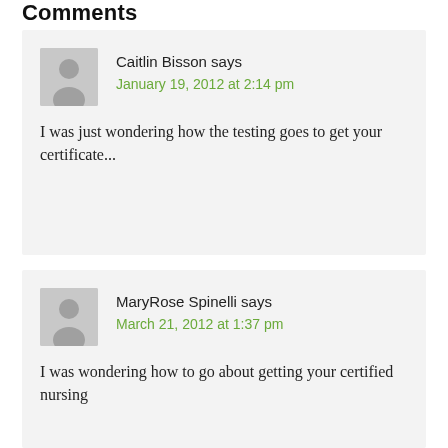Comments
Caitlin Bisson says
January 19, 2012 at 2:14 pm

I was just wondering how the testing goes to get your certificate...
MaryRose Spinelli says
March 21, 2012 at 1:37 pm

I was wondering how to go about getting your certified nursing